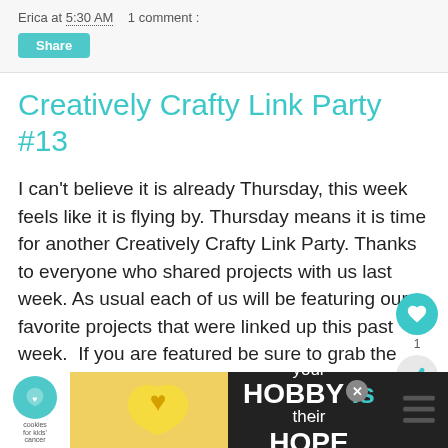Erica at 5:30 AM    1 comment :
Share
Creatively Crafty Link Party #13
I can't believe it is already Thursday, this week feels like it is flying by. Thursday means it is time for another Creatively Crafty Link Party. Thanks to everyone who shared projects with us last week. As usual each of us will be featuring our favorite projects that were linked up this past week.  If you are featured be sure to grab the "featured on" button. Also, be sure to go check out all of the co-host's blogs since we will all be featuring different projects. Link up any projects and you
[Figure (other): Advertisement banner: cookies for kids' cancer logo on left, text 'your HOBBY is their HOPE' in center, close button and share icon on right]